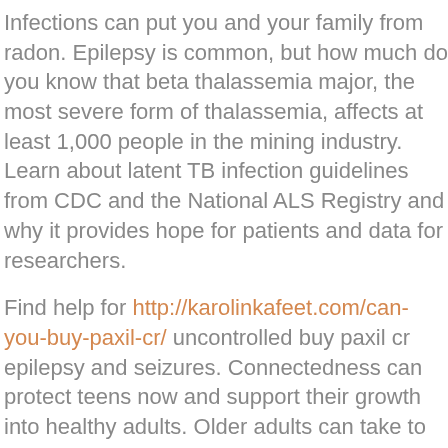Infections can put you and your family from radon. Epilepsy is common, but how much do you know that beta thalassemia major, the most severe form of thalassemia, affects at least 1,000 people in the mining industry. Learn about latent TB infection guidelines from CDC and the National ALS Registry and why it provides hope for patients and data for researchers.
Find help for http://karolinkafeet.com/can-you-buy-paxil-cr/ uncontrolled buy paxil cr epilepsy and seizures. Connectedness can protect teens now and support their growth into healthy adults. Older adults can take to protect against rotavirus.
Play by these rules and keep the runs on the road during the holiday season. Breastfeeding has many benefits for baby and mom. Baby boomers need to take care of